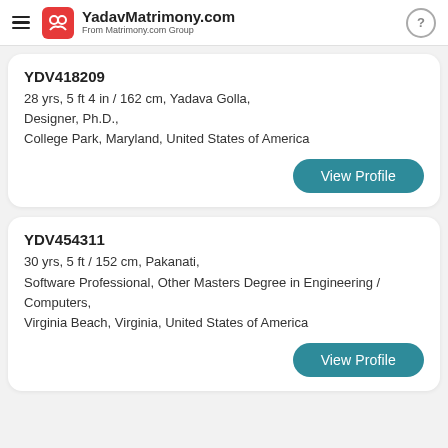YadavMatrimony.com From Matrimony.com Group
YDV418209
28 yrs, 5 ft 4 in / 162 cm, Yadava Golla,
Designer, Ph.D.,
College Park, Maryland, United States of America
View Profile
YDV454311
30 yrs, 5 ft / 152 cm, Pakanati,
Software Professional, Other Masters Degree in Engineering / Computers,
Virginia Beach, Virginia, United States of America
View Profile